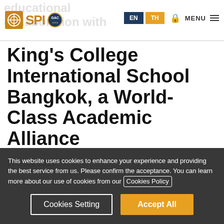ASPI | educational collaboration with | EN TH MENU
King's College International School Bangkok, a World-Class Academic Alliance
27 June 2019
This website uses cookies to enhance your experience and providing the best service from us. Please confirm the acceptance. You can learn more about our use of cookies from our Cookies Policy
Cookies Setting | Accept All